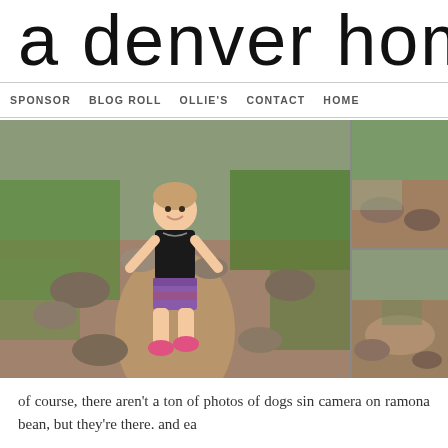a denver home c
SPONSOR   BLOG ROLL   OLLIE'S   CONTACT   HOME
[Figure (photo): Large photo of a young toddler girl in a black tank top and colorful shorts with pink shoes, walking on a rocky dirt hiking trail with green grass and rocks around her. To the right are two smaller photos showing rocky trail / nature scenery.]
of course, there aren't a ton of photos of dogs sin camera on ramona bean, but they're there. and ea